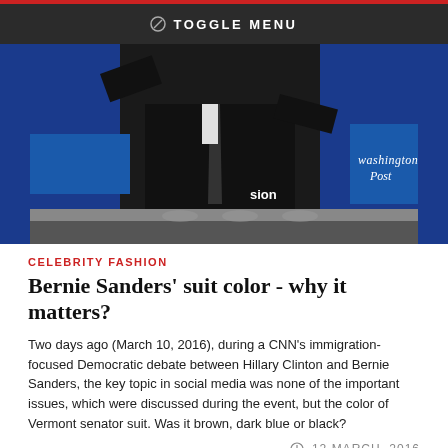TOGGLE MENU
[Figure (photo): Person in dark suit at CNN/Washington Post Democratic debate podium, blue background with Washington Post logo visible]
CELEBRITY FASHION
Bernie Sanders' suit color - why it matters?
Two days ago (March 10, 2016), during a CNN's immigration-focused Democratic debate between Hillary Clinton and Bernie Sanders, the key topic in social media was none of the important issues, which were discussed during the event, but the color of Vermont senator suit. Was it brown, dark blue or black?
12 MARCH, 2016
[Figure (photo): Partial photo of a person's face visible at the bottom of the page]